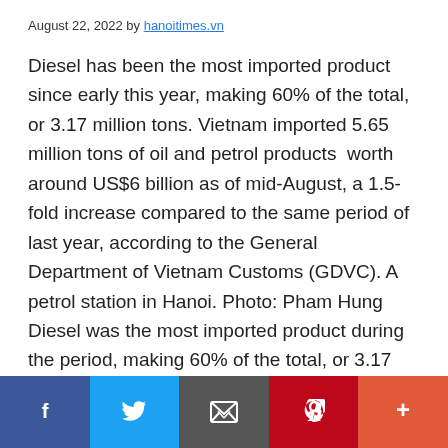August 22, 2022 by hanoitimes.vn
Diesel has been the most imported product since early this year, making 60% of the total, or 3.17 million tons. Vietnam imported 5.65 million tons of oil and petrol products  worth around US$6 billion as of mid-August, a 1.5-fold increase compared to the same period of last year, according to the General Department of Vietnam Customs (GDVC). A petrol station in Hanoi. Photo: Pham Hung Diesel was the most imported product during the period, making 60% of the total, or 3.17 million tons as of August 15. In July, the country imported 651,000 tons of petrol products, spending $736 million. Such